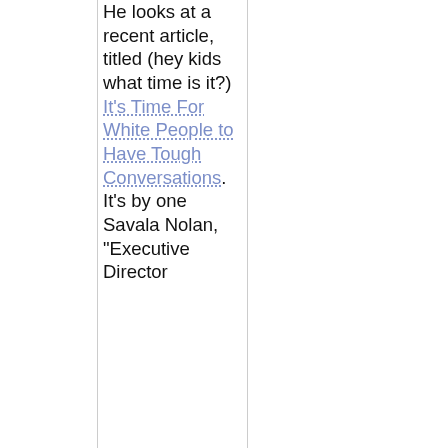He looks at a recent article, titled (hey kids what time is it?) It's Time For White People to Have Tough Conversations. It's by one Savala Nolan, "Executive Director